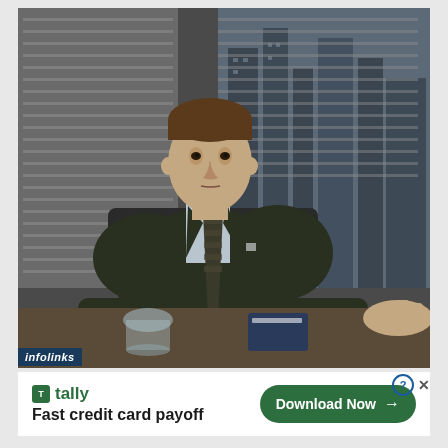[Figure (screenshot): Movie still showing a man in a dark suit and tie sitting at a desk in an office with window blinds and city skyline visible in the background. He appears to be at a desk with a glass and card. Another person's hand is visible on the right.]
infolinks
[Figure (infographic): Advertisement banner for Tally app. Shows Tally logo with green icon and text, tagline 'Fast credit card payoff', and a green 'Download Now' button with arrow. Has close/question icons in top right.]
tally
Fast credit card payoff
Download Now →